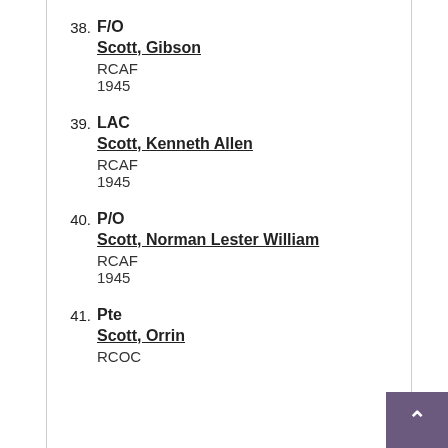38. F/O
Scott, Gibson
RCAF
1945
39. LAC
Scott, Kenneth Allen
RCAF
1945
40. P/O
Scott, Norman Lester William
RCAF
1945
41. Pte
Scott, Orrin
RCOC